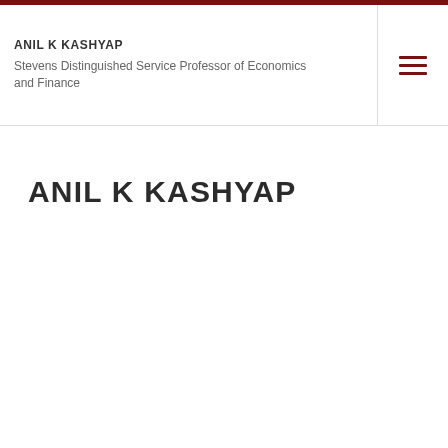ANIL K KASHYAP
Stevens Distinguished Service Professor of Economics and Finance
ANIL K KASHYAP